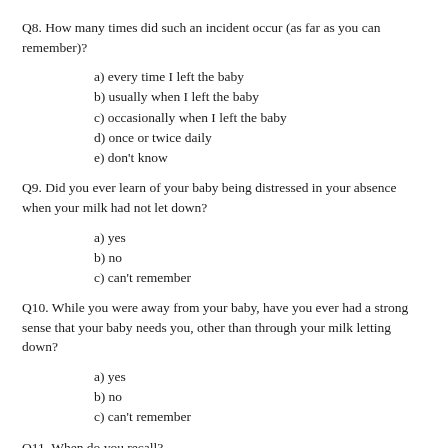Q8. How many times did such an incident occur (as far as you can remember)?
a) every time I left the baby
b) usually when I left the baby
c) occasionally when I left the baby
d) once or twice daily
e) don't know
Q9. Did you ever learn of your baby being distressed in your absence when your milk had not let down?
a) yes
b) no
c) can't remember
Q10. While you were away from your baby, have you ever had a strong sense that your baby needs you, other than through your milk letting down?
a) yes
b) no
c) can't remember
Q11. When do you recall?